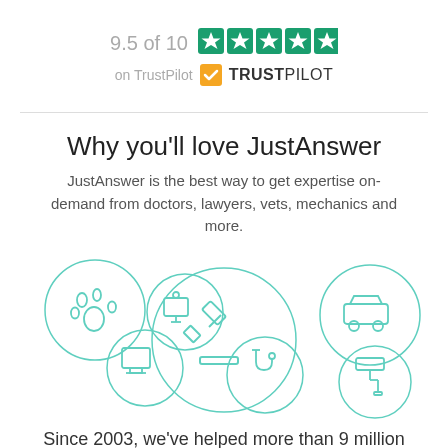[Figure (infographic): 9.5 of 10 rating with 5 green stars on TrustPilot]
Why you'll love JustAnswer
JustAnswer is the best way to get expertise on-demand from doctors, lawyers, vets, mechanics and more.
[Figure (infographic): Six circular icons representing service categories: pet (paw), tech/computer, computer monitor, stethoscope/health, law/gavel, car, paint roller]
Since 2003, we've helped more than 9 million people in